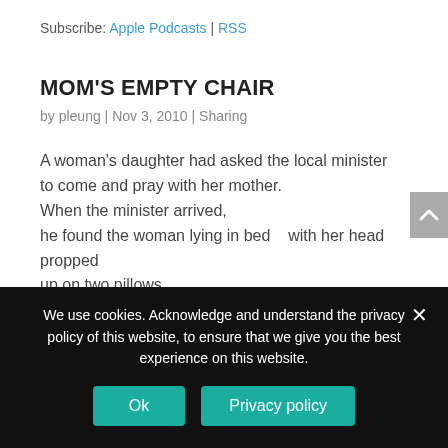Subscribe: Apple Podcasts | RSS
MOM'S EMPTY CHAIR
by pleung | Nov 3, 2010 | Sharing
A woman's daughter had asked the local minister to come and pray with her mother.
When the minister arrived,
he found the woman lying in bed   with her head  propped up on two pillows.

An empty chair sat beside her bed.
The minister assumed that the woman
We use cookies. Acknowledge and understand the privacy policy of this website, to ensure that we give you the best experience on this website.